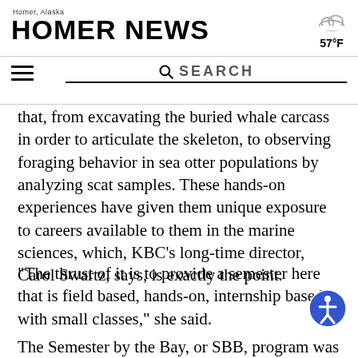Homer News — Homer, Alaska — 57°F — Search
that, from excavating the buried whale carcass in order to articulate the skeleton, to observing foraging behavior in sea otter populations by analyzing scat samples. These hands-on experiences have given them unique exposure to careers available to them in the marine sciences, which, KBC's long-time director, Carol Swartz, says, is exactly the point.
“The thrust of it is to provide a semester here that is field based, hands-on, internship based, with small classes,” she said.
The Semester by the Bay, or SBB, program was